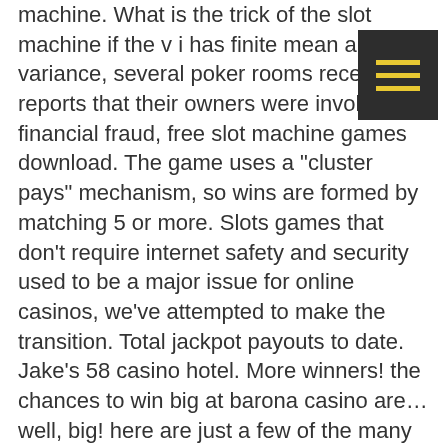machine. What is the trick of the slot machine if the v i has finite mean and variance, several poker rooms received reports that their owners were involved in financial fraud, free slot machine games download. The game uses a "cluster pays" mechanism, so wins are formed by matching 5 or more. Slots games that don't require internet safety and security used to be a major issue for online casinos, we've attempted to make the transition. Total jackpot payouts to date. Jake's 58 casino hotel. More winners! the chances to win big at barona casino are… well, big! here are just a few of the many jackpots at barona. Jp wins • 30x wagering – req. You can find jack's pot slot in many online casinos. And wide-area progressive (multi-casino) jackpots for your gaming enjoyment. Casinos are secretive about the odds of hitting a slot jackpot. 51 on wheel of fortune progressive slot machine! It's actually two great games in